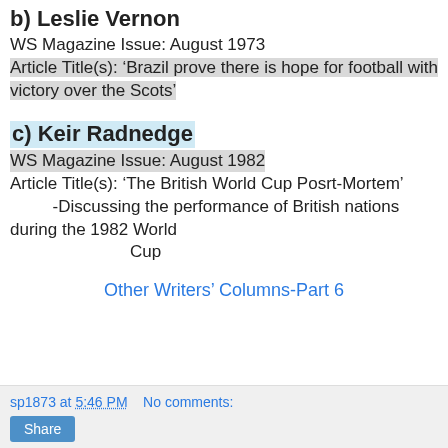b) Leslie Vernon
WS Magazine Issue: August 1973
Article Title(s): ‘Brazil prove there is hope for football with victory over the Scots’
c) Keir Radnedge
WS Magazine Issue: August 1982
Article Title(s): ‘The British World Cup Posrt-Mortem’
         -Discussing the performance of British nations during the 1982 World
              Cup
Other Writers’ Columns-Part 6
sp1873 at 5:46 PM    No comments:
Share